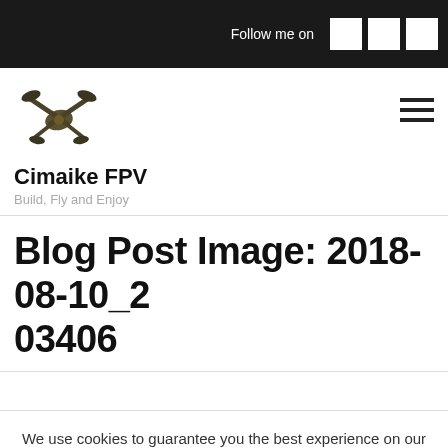Follow me on
[Figure (logo): Cimaike FPV drone logo — abstract stylized drone/star shape in dark olive/bronze]
Cimaike FPV
Build, Fly and Enjoy
Blog Post Image: 2018-08-10_2 03406
We use cookies to guarantee you the best experience on our site. If you continue to use it, we will consider that you accept the use of cookies.
OK